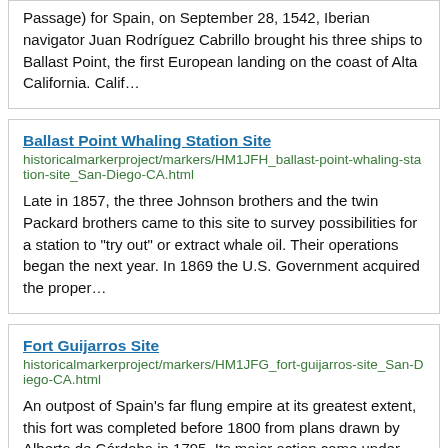Passage) for Spain, on September 28, 1542, Iberian navigator Juan Rodríguez Cabrillo brought his three ships to Ballast Point, the first European landing on the coast of Alta California. Calif…
Ballast Point Whaling Station Site
historicalmarkerproject/markers/HM1JFH_ballast-point-whaling-station-site_San-Diego-CA.html
Late in 1857, the three Johnson brothers and the twin Packard brothers came to this site to survey possibilities for a station to "try out" or extract whale oil. Their operations began the next year. In 1869 the U.S. Government acquired the proper…
Fort Guijarros Site
historicalmarkerproject/markers/HM1JFG_fort-guijarros-site_San-Diego-CA.html
An outpost of Spain's far flung empire at its greatest extent, this fort was completed before 1800 from plans drawn by Alberto de Córdoba in 1795. Its major action came under Corporal José Velásquez on March 22, 1803, in the "Battle of Sa…